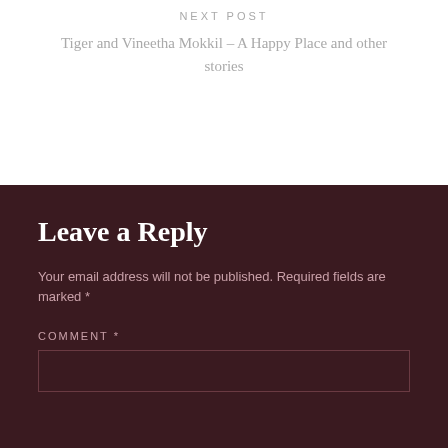NEXT POST
Tiger and Vineetha Mokkil – A Happy Place and other stories
Leave a Reply
Your email address will not be published. Required fields are marked *
COMMENT *